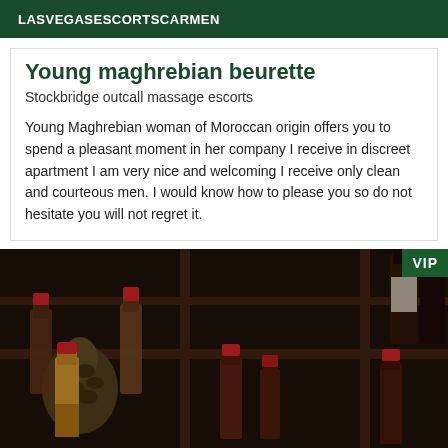LASVEGASESCORTSCARMEN
Young maghrebian beurette
Stockbridge outcall massage escorts
Young Maghrebian woman of Moroccan origin offers you to spend a pleasant moment in her company I receive in discreet apartment I am very nice and welcoming I receive only clean and courteous men. I would know how to please you so do not hesitate you will not regret it.
[Figure (photo): Photo of a wine rack/shelf with multiple wine bottles with red wax tops, in a dark wood shelving unit. A VIP badge appears in the top right corner of the image.]